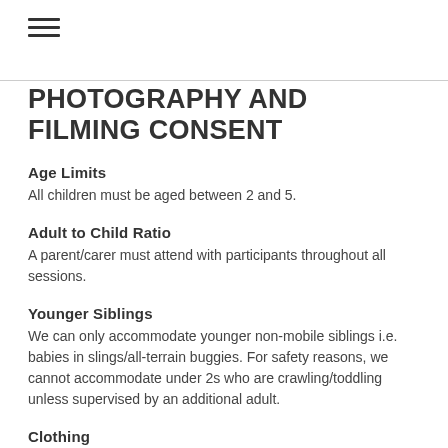[Figure (other): Hamburger menu icon (three horizontal lines)]
PHOTOGRAPHY AND FILMING CONSENT
Age Limits
All children must be aged between 2 and 5.
Adult to Child Ratio
A parent/carer must attend with participants throughout all sessions.
Younger Siblings
We can only accommodate younger non-mobile siblings i.e. babies in slings/all-terrain buggies. For safety reasons, we cannot accommodate under 2s who are crawling/toddling unless supervised by an additional adult.
Clothing